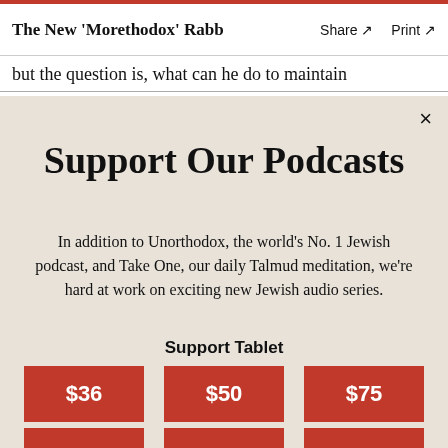The New 'Morethodox' Rabb   Share ↗   Print ↗
but the question is, what can he do to maintain
Support Our Podcasts
In addition to Unorthodox, the world's No. 1 Jewish podcast, and Take One, our daily Talmud meditation, we're hard at work on exciting new Jewish audio series.
Support Tablet
$36
$50
$75